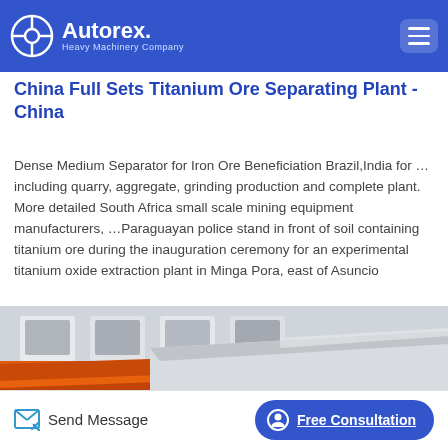Autorex Heavy Machinery Company
China Full Sets Titanium Ore Separating Plant - China
Dense Medium Separator for Iron Ore Beneficiation Brazil,India for … including quarry, aggregate, grinding production and complete plant. More detailed South Africa small scale mining equipment manufacturers, …Paraguayan police stand in front of soil containing titanium ore during the inauguration ceremony for an experimental titanium oxide extraction plant in Minga Pora, east of Asuncio
[Figure (photo): Industrial orange-colored ore separating/screening machine with angled panels and conveyor components in a factory setting]
Send Message | Free Consultation